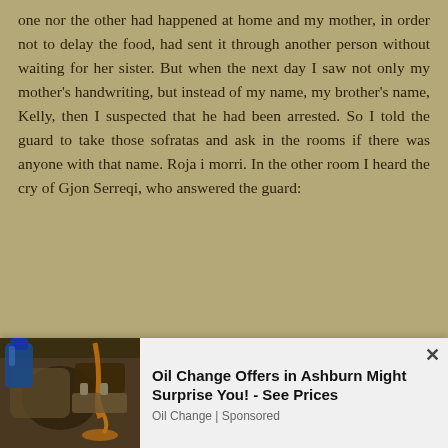one nor the other had happened at home and my mother, in order not to delay the food, had sent it through another person without waiting for her sister. But when the next day I saw not only my mother's handwriting, but instead of my name, my brother's name, Kelly, then I suspected that he had been arrested. So I told the guard to take those sofratas and ask in the rooms if there was anyone with that name. Roja i morri. In the other room I heard the cry of Gjon Serreqi, who answered the guard:
No Kel, yes you have Ejëll Çoba in the other room. The guard went from room to room, turned and said to me:
There is no name for this — he left me the sofratas...
[Figure (photo): Advertisement photo showing an engine with oil being poured, related to an oil change service ad]
Oil Change Offers in Ashburn Might Surprise You! - See Prices
Oil Change | Sponsored